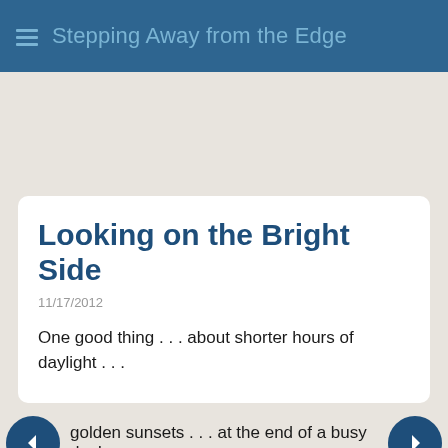Stepping Away from the Edge
Looking on the Bright Side
11/17/2012
One good thing . . . about shorter hours of daylight . . .
golden sunsets . . . at the end of a busy day!